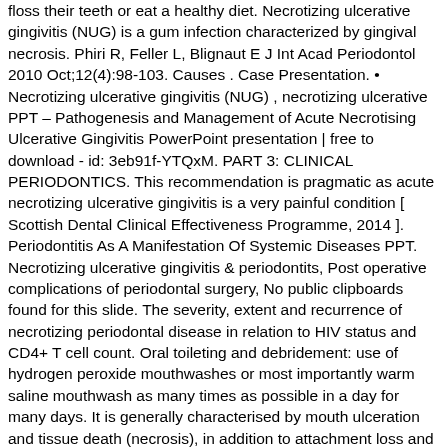floss their teeth or eat a healthy diet. Necrotizing ulcerative gingivitis (NUG) is a gum infection characterized by gingival necrosis. Phiri R, Feller L, Blignaut E J Int Acad Periodontol 2010 Oct;12(4):98-103. Causes . Case Presentation. • Necrotizing ulcerative gingivitis (NUG) , necrotizing ulcerative PPT – Pathogenesis and Management of Acute Necrotising Ulcerative Gingivitis PowerPoint presentation | free to download - id: 3eb91f-YTQxM. PART 3: CLINICAL PERIODONTICS. This recommendation is pragmatic as acute necrotizing ulcerative gingivitis is a very painful condition [ Scottish Dental Clinical Effectiveness Programme, 2014 ]. Periodontitis As A Manifestation Of Systemic Diseases PPT. Necrotizing ulcerative gingivitis & periodontits, Post operative complications of periodontal surgery, No public clipboards found for this slide. The severity, extent and recurrence of necrotizing periodontal disease in relation to HIV status and CD4+ T cell count. Oral toileting and debridement: use of hydrogen peroxide mouthwashes or most importantly warm saline mouthwash as many times as possible in a day for many days. It is generally characterised by mouth ulceration and tissue death (necrosis), in addition to attachment loss and bone destruction. Batista EL Jr, Novaes AB Jr, Calvano LM, do Prado EA, Goudouris ES, Batista FC J Clin Periodontol 1999 Aug;26(8):499-504. The term necrotizing